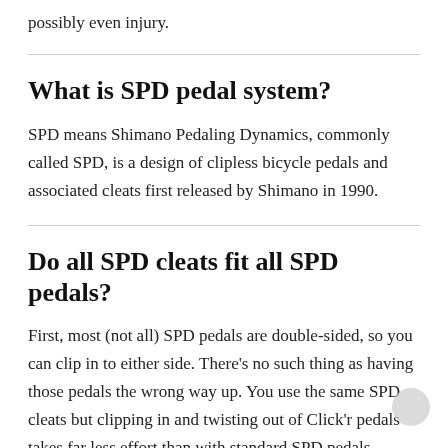possibly even injury.
What is SPD pedal system?
SPD means Shimano Pedaling Dynamics, commonly called SPD, is a design of clipless bicycle pedals and associated cleats first released by Shimano in 1990.
Do all SPD cleats fit all SPD pedals?
First, most (not all) SPD pedals are double-sided, so you can clip in to either side. There's no such thing as having those pedals the wrong way up. You use the same SPD cleats but clipping in and twisting out of Click'r pedals takes far less effort than with standard SPD pedals.